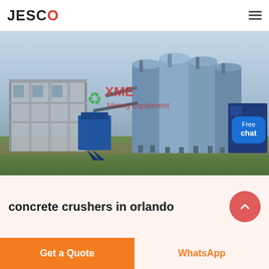JESCO
[Figure (photo): Industrial facility with large blue silos/tanks and a concrete building structure. XME Mining Equipment watermark visible. Green grass in foreground, overcast sky.]
concrete crushers in orlando
Get a Quote
WhatsApp